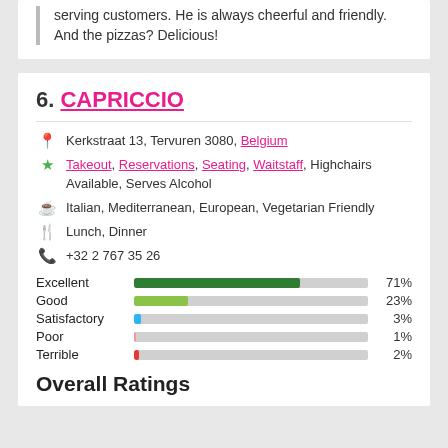serving customers. He is always cheerful and friendly. And the pizzas? Delicious!
6. CAPRICCIO
Kerkstraat 13, Tervuren 3080, Belgium
Takeout, Reservations, Seating, Waitstaff, Highchairs Available, Serves Alcohol
Italian, Mediterranean, European, Vegetarian Friendly
Lunch, Dinner
+32 2 767 35 26
[Figure (bar-chart): Rating distribution]
Overall Ratings